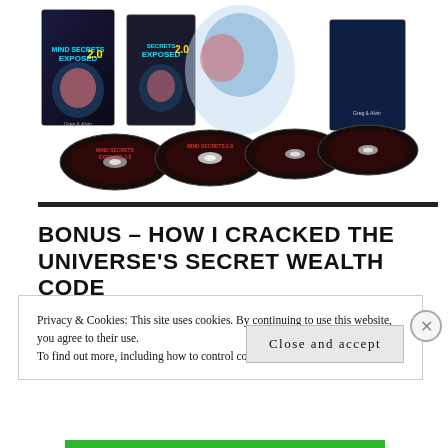[Figure (photo): Product image showing Mind Secrets Exposed 2.0 CD/DVD set with boxes and multiple discs, branded with 'Greg & Alvin', on white background]
BONUS – HOW I CRACKED THE UNIVERSE'S SECRET WEALTH CODE
Privacy & Cookies: This site uses cookies. By continuing to use this website, you agree to their use.
To find out more, including how to control cookies, see here: Cookie Policy
Close and accept